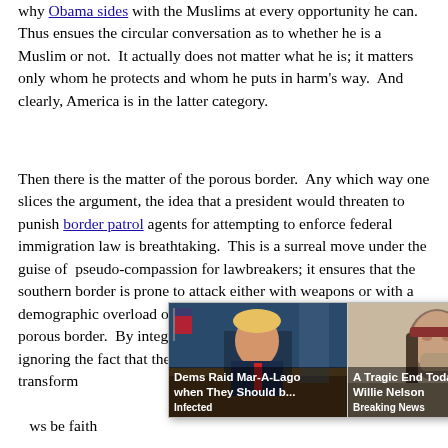why Obama sides with the Muslims at every opportunity he can. Thus ensues the circular conversation as to whether he is a Muslim or not. It actually does not matter what he is; it matters only whom he protects and whom he puts in harm's way. And clearly, America is in the latter category.
Then there is the matter of the porous border. Any which way one slices the argument, the idea that a president would threaten to punish border patrol agents for attempting to enforce federal immigration law is breathtaking. This is a surreal move under the guise of pseudo-compassion for lawbreakers; it ensures that the southern border is prone to attack either with weapons or with a demographic overload of illegals and anyone else who passes the porous border. By integrating illegals into communities and by ignoring the fact that they have broken th... total transform... sein Obama. ... responsi... ws be faithf...
[Figure (screenshot): Ad overlay with two panels: left panel shows image of Trump with caption 'Dems Raid Mar-A-Lago when They Should b...' labeled 'Infected'; right panel shows image of elderly man with caption 'A Tragic End Today For Willie Nelson' labeled 'Breaking News'. An X close button appears at top right of the overlay.]